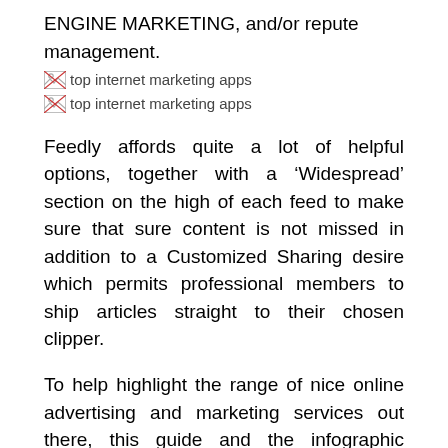ENGINE MARKETING, and/or repute management.
[Figure (illustration): Broken image icon with alt text 'top internet marketing apps']
[Figure (illustration): Broken image icon with alt text 'top internet marketing apps']
Feedly affords quite a lot of helpful options, together with a ‘Widespread’ section on the high of each feed to make sure that sure content is not missed in addition to a Customized Sharing desire which permits professional members to ship articles straight to their chosen clipper.
To help highlight the range of nice online advertising and marketing services out there, this guide and the infographic accompanying it suggest the categories of instruments it is best to contemplate and highlights